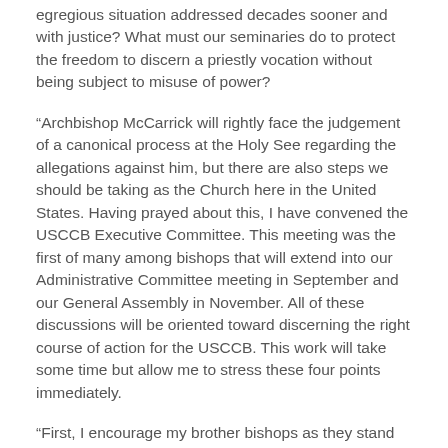egregious situation addressed decades sooner and with justice? What must our seminaries do to protect the freedom to discern a priestly vocation without being subject to misuse of power?
“Archbishop McCarrick will rightly face the judgement of a canonical process at the Holy See regarding the allegations against him, but there are also steps we should be taking as the Church here in the United States. Having prayed about this, I have convened the USCCB Executive Committee. This meeting was the first of many among bishops that will extend into our Administrative Committee meeting in September and our General Assembly in November. All of these discussions will be oriented toward discerning the right course of action for the USCCB. This work will take some time but allow me to stress these four points immediately.
“First, I encourage my brother bishops as they stand ready in our local dioceses to respond with compassion and justice to anyone who has been sexually abused or harassed by anyone in the Church. We should do whatever we can to accompany them.